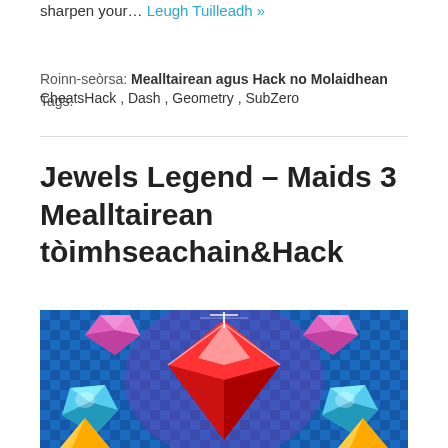sharpen your… Leugh Tuilleadh »
Roinn-seòrsa: Mealltairean agus Hack no Molaidhean Tags: CheatsHack , Dash , Geometry , SubZero
Jewels Legend – Maids 3 Mealltairean tòimhseachain&Hack
[Figure (illustration): Colorful jewels/gems illustration: large red diamond in center, pink gems on upper left and upper right, blue gems on lower left and lower right, yellow gems at bottom, on a blue checkered background with purple glow effects]